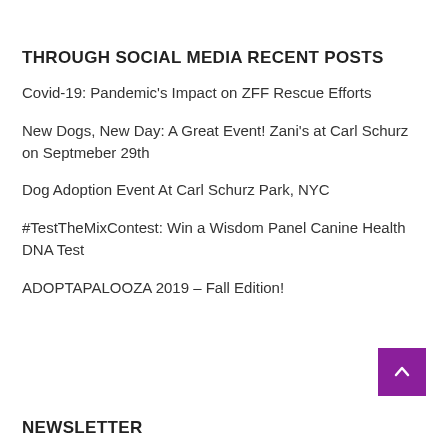THROUGH SOCIAL MEDIA
RECENT POSTS
Covid-19: Pandemic's Impact on ZFF Rescue Efforts
New Dogs, New Day: A Great Event! Zani's at Carl Schurz on Septmeber 29th
Dog Adoption Event At Carl Schurz Park, NYC
#TestTheMixContest: Win a Wisdom Panel Canine Health DNA Test
ADOPTAPALOOZA 2019 – Fall Edition!
NEWSLETTER